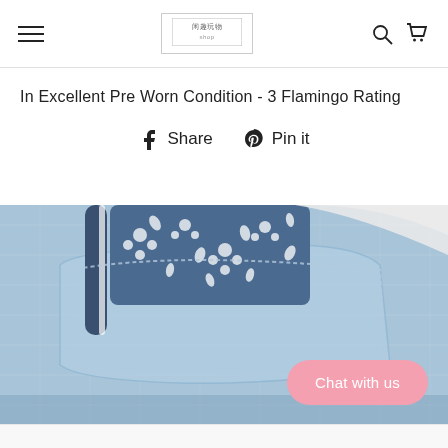Navigation header with hamburger menu, logo, search and cart icons
In Excellent Pre Worn Condition - 3 Flamingo Rating
Share  Pin it
[Figure (photo): Close-up photo of denim jeans pocket with a blue and white floral patterned umbrella or accessory tucked into the pocket]
Chat with us